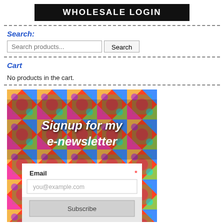WHOLESALE LOGIN
Search:
Search products...
Cart
No products in the cart.
[Figure (infographic): Newsletter signup banner with colorful quilt background and text 'Signup for my e-newsletter', with an email form and Subscribe button below]
Email * you@example.com Subscribe